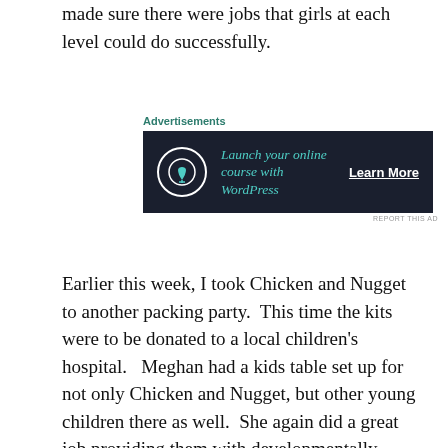made sure there were jobs that girls at each level could do successfully.
[Figure (other): Advertisement banner: 'Launch your online course with WordPress' with a tree/bonsai icon and 'Learn More' call to action on dark navy background]
Earlier this week, I took Chicken and Nugget to another packing party.  This time the kits were to be donated to a local children's hospital.   Meghan had a kids table set up for not only Chicken and Nugget, but other young children there as well.  She again did a great job providing them with developmentally appropriate tasks that were still useful and productive.  Adults worked to complete the rest of the tasks and we formed quite the assembly line to get all the kits filled! Music played, snacks were eaten, crepe paper was rolled, papers were collated, and a good time was had by all.  While I would like to say that Chicken and Nugget were